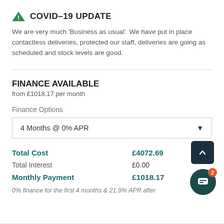COVID–19 UPDATE
We are very much 'Business as usual'. We have put in place contactless deliveries, protected our staff, deliveries are going as scheduled and stock levels are good.
FINANCE AVAILABLE
from £1018.17 per month
Finance Options
4 Months @ 0% APR
| Label | Value |
| --- | --- |
| Total Cost | £4072.69 |
| Total Interest | £0.00 |
| Monthly Payment | £1018.17 |
0% finance for the first 4 months & 21.9% APR after